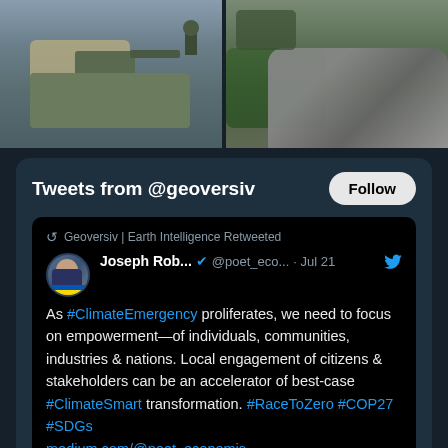[Figure (photo): Two photos side by side at top: left shows military tank/vehicle with supply sacks in snowy setting; right shows rocky mountainous terrain with vegetation]
Tweets from @geoversiv
Follow
Geoversiv | Earth Intelligence Retweeted
Joseph Rob... @poet_eco... · Jul 21
As #ClimateEmergency proliferates, we need to focus on empowerment—of individuals, communities, industries & nations. Local engagement of citizens & stakeholders can be an accelerator of best-case #ClimateSmart transformation. #RaceToZero #COP27 #SDGs medium.com/@poet_economis...